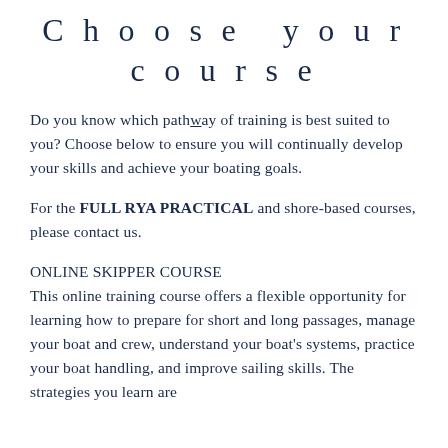Choose your course
Do you know which pathway of training is best suited to you? Choose below to ensure you will continually develop your skills and achieve your boating goals.
For the FULL RYA PRACTICAL and shore-based courses, please contact us.
ONLINE SKIPPER COURSE
This online training course offers a flexible opportunity for learning how to prepare for short and long passages, manage your boat and crew, understand your boat’s systems, practice your boat handling, and improve sailing skills. The strategies you learn are